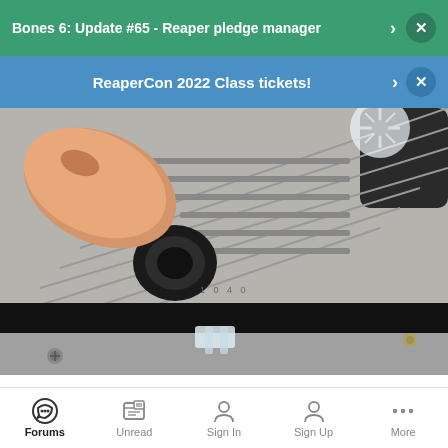Bones 6: Update #65 - Reaper pledge manager
ReaperCon 2022 Class tickets!
[Figure (photo): Close-up photograph of a finger pressing on a black cable grommet or bushing on a gray ventilated electronic device enclosure, with visible screws and a clear plastic clip at the bottom edge.]
Finally I cut the leads from the fan and crimped them onto the transformer's wires. (The blue wire shown in the fan close up wasn't "live" - I assume it's for speed control or something, I didn't
Forums  Unread  Sign In  Sign Up  More